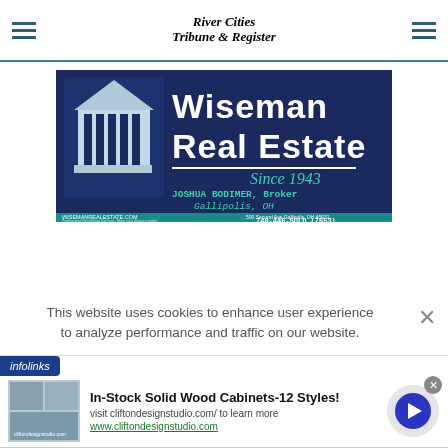River Cities Tribune & Register
[Figure (logo): Wiseman Real Estate advertisement banner. Dark navy blue background with white gazebo illustration. Large text: 'Wiseman Real Estate Since 1943'. JOSHUA BODIMER, Broker, Gallipolis, OH. Website: wisemanrealestate.com. Address: 500 Second Ave Gallipolis, OH 45631. Phone: 740-446-SOLD (7653).]
This website uses cookies to enhance user experience to analyze performance and traffic on our website.
[Figure (screenshot): Infolinks ad bar showing ad for 'In-Stock Solid Wood Cabinets-12 Styles!' from cliftondesignstudio.com with a photo of kitchen cabinets, blue arrow button, and close button.]